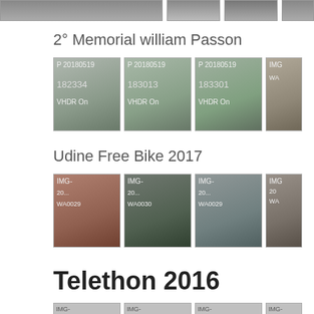[Figure (photo): Top strip of partially visible photo thumbnails]
2° Memorial william Passon
[Figure (photo): Grid of 4 photo thumbnails for '2° Memorial william Passon'. Photos labeled: P 20180519 182334 VHDR On, P 20180519 183013 VHDR On, P 20180519 183301 VHDR On, IMG- (partially visible)]
Udine Free Bike 2017
[Figure (photo): Grid of 4 photo thumbnails for 'Udine Free Bike 2017'. Photos labeled: IMG- 20...-WA0029, IMG- 20...-WA0030, IMG- 20...-WA0029, IMG- 20 WA (partially visible)]
Telethon 2016
[Figure (photo): Grid of 4 photo thumbnails for 'Telethon 2016'. Photos labeled: IMG-20161219-..., IMG-20161219-..., IMG-20161219-..., IMG- 20 (partially visible)]